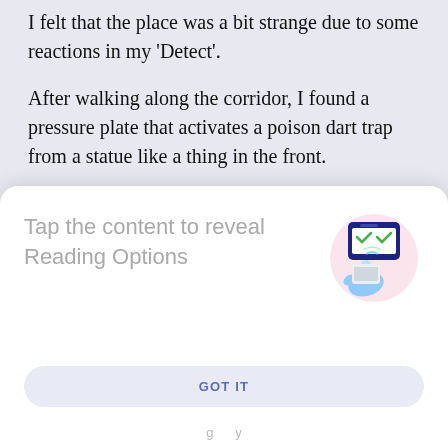I felt that the place was a bit strange due to some reactions in my 'Detect'.
After walking along the corridor, I found a pressure plate that activates a poison dart trap from a statue like a thing in the front.
There were two dead bandits here!
"See what I am talking about?"
[Figure (infographic): A modal overlay card with white background and rounded top corners. Contains text 'Tap the content to reveal Reading Options' in grey on the left, and a pink circular illustration of a hand tapping a phone/tablet on the right. A 'GOT IT' button at the bottom in blue on a light lavender background.]